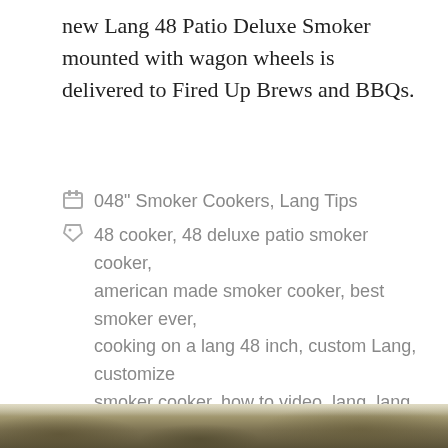new Lang 48 Patio Deluxe Smoker mounted with wagon wheels is delivered to Fired Up Brews and BBQs.
048" Smoker Cookers, Lang Tips
48 cooker, 48 deluxe patio smoker cooker, american made smoker cooker, best smoker ever, cooking on a lang 48 inch, custom Lang, customize smoker cooker, how to video, lang, lang bbq smokers, smoker cooker, smoker cooker class, smoker cooker classes
Leave a comment
[Figure (photo): Bottom strip showing outdoor ground/grassy terrain, dark earthy tones]